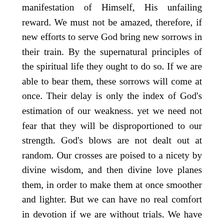manifestation of Himself, His unfailing reward. We must not be amazed, therefore, if new efforts to serve God bring new sorrows in their train. By the supernatural principles of the spiritual life they ought to do so. If we are able to bear them, these sorrows will come at once. Their delay is only the index of God's estimation of our weakness. yet we need not fear that they will be disproportioned to our strength. God's blows are not dealt out at random. Our crosses are poised to a nicety by divine wisdom, and then divine love planes them, in order to make them at once smoother and lighter. But we can have no real comfort in devotion if we are without trials. We have no proof that God accepts us, no security against